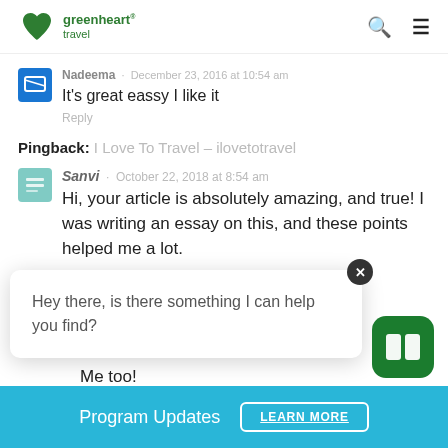greenheart travel
Nadeema · December 23, 2016 at 10:54 am
It's great eassy I like it
Reply
Pingback: I Love To Travel – ilovetotravel
Sanvi · October 22, 2018 at 8:54 am
Hi, your article is absolutely amazing, and true! I was writing an essay on this, and these points helped me a lot.
Hey there, is there something I can help you find?
Me too!
Reply
Program Updates   LEARN MORE